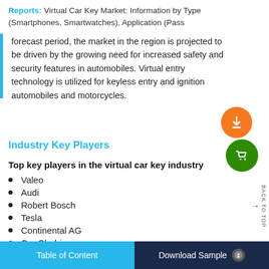Reports: Virtual Car Key Market: Information by Type (Smartphones, Smartwatches), Application (Pass
forecast period, the market in the region is projected to be driven by the growing need for increased safety and security features in automobiles. Virtual entry technology is utilized for keyless entry and ignition automobiles and motorcycles.
Industry Key Players
Top key players in the virtual car key industry
Valeo
Audi
Robert Bosch
Tesla
Continental AG
Car Chabi
Table of Content    Download Sample